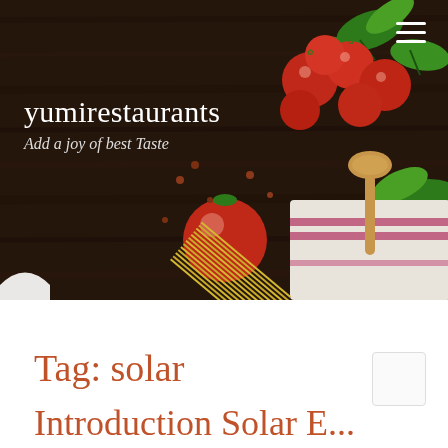[Figure (photo): Hero banner showing Italian food ingredients on a dark wood table: cherry tomatoes, fresh basil leaves, dry spaghetti, a wooden spoon, and a striped kitchen towel.]
yumirestaurants
Add a joy of best Taste
Tag: solar
Introduction Solar E...